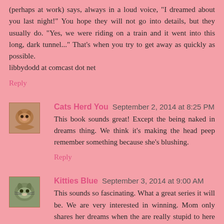(perhaps at work) says, always in a loud voice, "I dreamed about you last night!" You hope they will not go into details, but they usually do. "Yes, we were riding on a train and it went into this long, dark tunnel..." That's when you try to get away as quickly as possible.
libbydodd at comcast dot net
Reply
Cats Herd You  September 2, 2014 at 8:25 PM
This book sounds great! Except the being naked in dreams thing. We think it's making the head peep remember something because she's blushing.
Reply
Kitties Blue  September 3, 2014 at 9:00 AM
This sounds so fascinating. What a great series it will be. We are very interested in winning. Mom only shares her dreams when the are really stupid to here way of thinking. And more to say talk XO Lily Olivia Mauricio Misty Mo